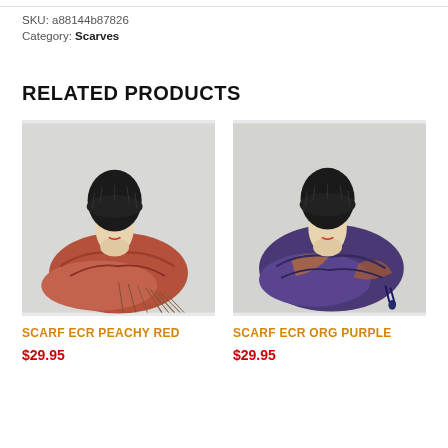SKU: a88144b87826
Category: Scarves
RELATED PRODUCTS
[Figure (photo): Mannequin head wearing a black beanie hat and a red/peachy colored fringed scarf draped around it, on a white background.]
SCARF ECR PEACHY RED
$29.95
[Figure (photo): Mannequin head wearing a black beanie hat and a purple/orange colored scarf draped around it, on a white background.]
SCARF ECR ORG PURPLE
$29.95